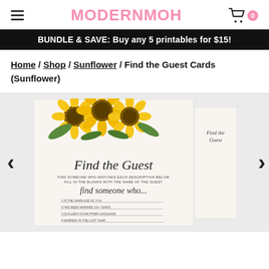MODERNMOH
BUNDLE & SAVE: Buy any 5 printables for $15!
Home / Shop / Sunflower / Find the Guest Cards (Sunflower)
[Figure (photo): Product photo of a 'Find the Guest' bridal shower game card with sunflower design. Card shows sunflowers at the top and text reading 'Find the Guest', 'FIND SOMEONE WHO MATCHES EACH DESCRIPTION BELOW FILL IN THE BLANKS WITH THE NAME OF THE GUEST', 'find someone who...', followed by fill-in lines.]